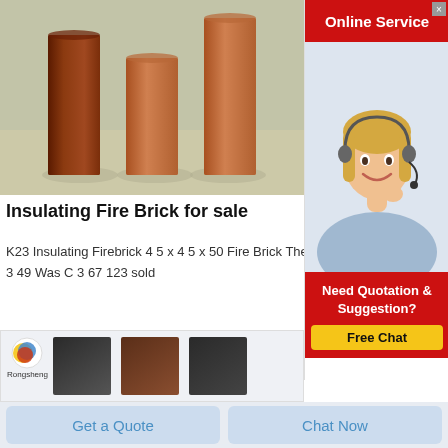[Figure (photo): Photo of three tall rectangular insulating fire bricks standing upright, reddish-brown and terracotta colored, on a concrete/sandy surface.]
Insulating Fire Brick for sale
K23 Insulating Firebrick 4 5 x 4 5 x 50 Fire Brick Therm
3 49 Was C 3 67 123 sold
[Figure (illustration): Online Service sidebar widget with red header, customer service representative photo (blonde woman with headset), and 'Need Quotation & Suggestion? Free Chat' red panel with yellow button.]
[Figure (photo): Bottom product strip showing Rongsheng logo and three dark cube/brick thumbnails on a light background.]
Get a Quote
Chat Now